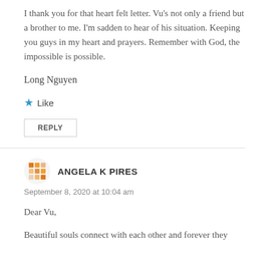I thank you for that heart felt letter. Vu's not only a friend but a brother to me. I'm sadden to hear of his situation. Keeping you guys in my heart and prayers. Remember with God, the impossible is possible.
Long Nguyen
★ Like
REPLY
ANGELA K PIRES
September 8, 2020 at 10:04 am
Dear Vu,
Beautiful souls connect with each other and forever they